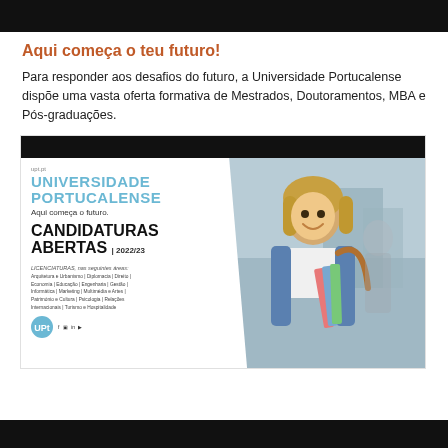[Figure (other): Black header bar at top of page]
Aqui começa o teu futuro!
Para responder aos desafios do futuro, a Universidade Portucalense dispõe uma vasta oferta formativa de Mestrados, Doutoramentos, MBA e Pós-graduações.
[Figure (photo): Advertisement for Universidade Portucalense showing a smiling female student holding books, with text: upt.pt, UNIVERSIDADE PORTUCALENSE, Aqui começa o futuro. CANDIDATURAS ABERTAS | 2022/23. LICENCIATURAS, nas seguintes áreas: Arquitetura e Urbanismo | Diplomacia | Direito | Economia | Educação | Engenharia | Gestão | Informática | Marketing | Multimédia e Artes | Património e Cultura | Psicologia | Relações Internacionais | Turismo e Hospitalidade. With UPT logo and social media icons.]
[Figure (other): Black footer bar at bottom of page]